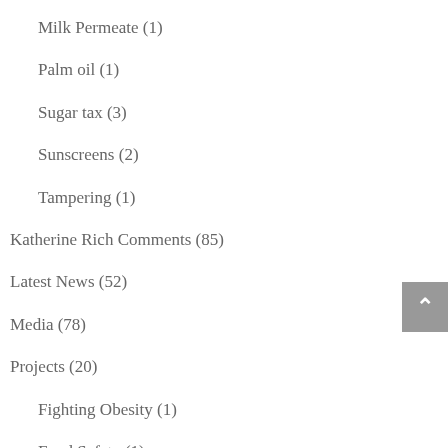Milk Permeate (1)
Palm oil (1)
Sugar tax (3)
Sunscreens (2)
Tampering (1)
Katherine Rich Comments (85)
Latest News (52)
Media (78)
Projects (20)
Fighting Obesity (1)
Food Safety (1)
Health & Safety (8)